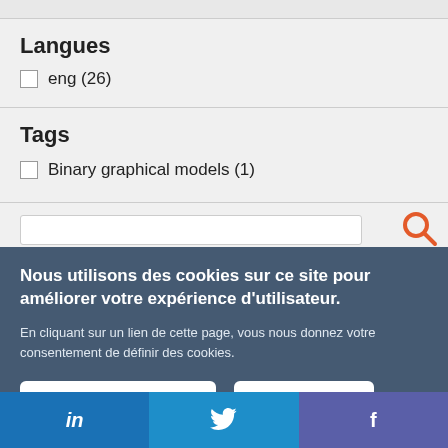Langues
eng (26)
Tags
Binary graphical models (1)
Nous utilisons des cookies sur ce site pour améliorer votre expérience d'utilisateur.
En cliquant sur un lien de cette page, vous nous donnez votre consentement de définir des cookies.
Oui, je suis d'accord
Plus d'infos
[Figure (other): Social media bar with LinkedIn, Twitter, and Facebook icons]